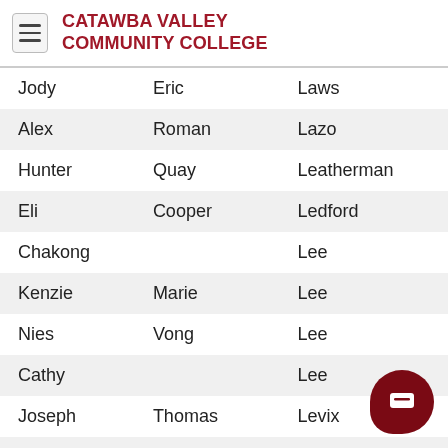CATAWBA VALLEY COMMUNITY COLLEGE
| Jody | Eric | Laws |
| Alex | Roman | Lazo |
| Hunter | Quay | Leatherman |
| Eli | Cooper | Ledford |
| Chakong |  | Lee |
| Kenzie | Marie | Lee |
| Nies | Vong | Lee |
| Cathy |  | Lee |
| Joseph | Thomas | Levix |
| Yan Yan |  | Li |
| Courtnie | La'na Jenna | Little |
| Joshua | Von William | Little |